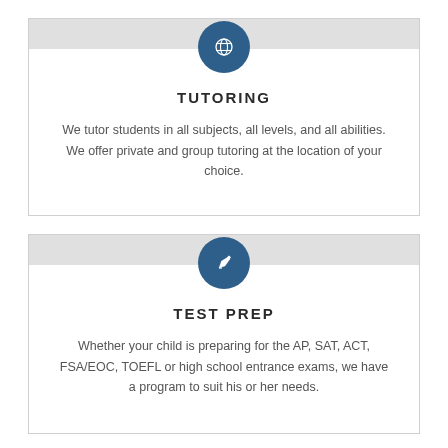[Figure (illustration): Globe icon in a dark blue circle, centered at top of tutoring card]
TUTORING
We tutor students in all subjects, all levels, and all abilities. We offer private and group tutoring at the location of your choice.
[Figure (illustration): Pencil/edit icon in a dark blue circle, centered at top of test prep card]
TEST PREP
Whether your child is preparing for the AP, SAT, ACT, FSA/EOC, TOEFL or high school entrance exams, we have a program to suit his or her needs.